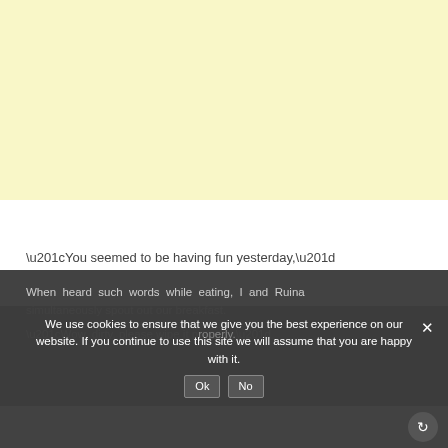[Figure (illustration): Light yellow background area occupying the top portion of the page, representing a manga/comic panel with no visible characters.]
“You seemed to be having fun yesterday,”
When heard such words while eating, I and Ruina simultaneously spout out our breakfast.
We use cookies to ensure that we give you the best experience on our website. If you continue to use this site we will assume that you are happy with it.
“Wow, dirty, please wipe it properly.”